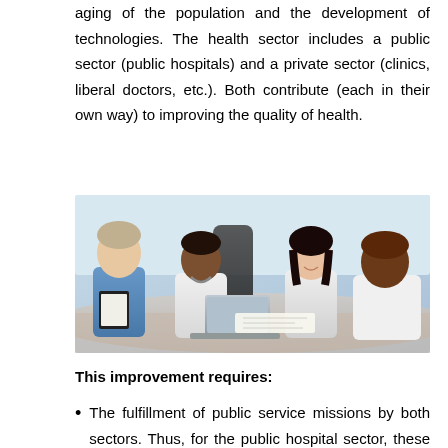aging of the population and the development of technologies. The health sector includes a public sector (public hospitals) and a private sector (clinics, liberal doctors, etc.). Both contribute (each in their own way) to improving the quality of health.
[Figure (photo): Photo of four healthcare professionals (two women in white coats, one man in blue scrubs, one man in white shirt) sitting around a table with a laptop and clipboard, appearing to consult and collaborate.]
This improvement requires:
The fulfillment of public service missions by both sectors. Thus, for the public hospital sector, these missions are care, emergency, medical aid